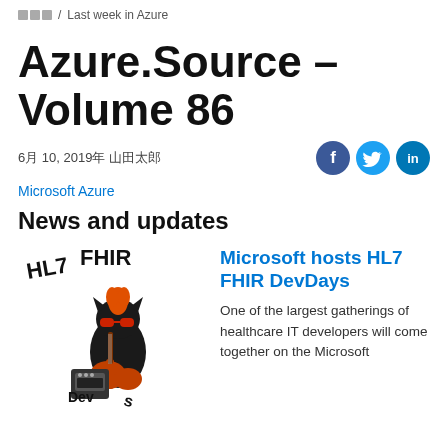□□□ / Last week in Azure
Azure.Source – Volume 86
6月 10, 2019年 山田太郎
Microsoft Azure
News and updates
[Figure (illustration): HL7 FHIR DevDays logo showing a cartoon cat playing electric guitar with mohawk, text HL7 FHIR and DevDays]
Microsoft hosts HL7 FHIR DevDays

One of the largest gatherings of healthcare IT developers will come together on the Microsoft